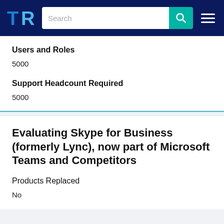TrustRadius — Search bar navigation header
Users and Roles
5000
Support Headcount Required
5000
Evaluating Skype for Business (formerly Lync), now part of Microsoft Teams and Competitors
Products Replaced
No